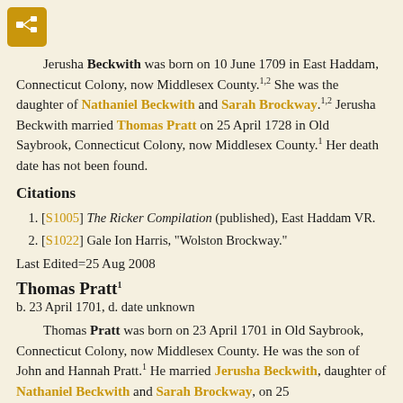[Figure (logo): Gold/amber colored icon box with a tree/hierarchy symbol in white]
Jerusha Beckwith was born on 10 June 1709 in East Haddam, Connecticut Colony, now Middlesex County.1,2 She was the daughter of Nathaniel Beckwith and Sarah Brockway.1,2 Jerusha Beckwith married Thomas Pratt on 25 April 1728 in Old Saybrook, Connecticut Colony, now Middlesex County.1 Her death date has not been found.
Citations
[S1005] The Ricker Compilation (published), East Haddam VR.
[S1022] Gale Ion Harris, "Wolston Brockway."
Last Edited=25 Aug 2008
Thomas Pratt1
b. 23 April 1701, d. date unknown
Thomas Pratt was born on 23 April 1701 in Old Saybrook, Connecticut Colony, now Middlesex County. He was the son of John and Hannah Pratt.1 He married Jerusha Beckwith, daughter of Nathaniel Beckwith and Sarah Brockway, on 25 April 1728 in Old Saybrook, Connecticut Colony, now